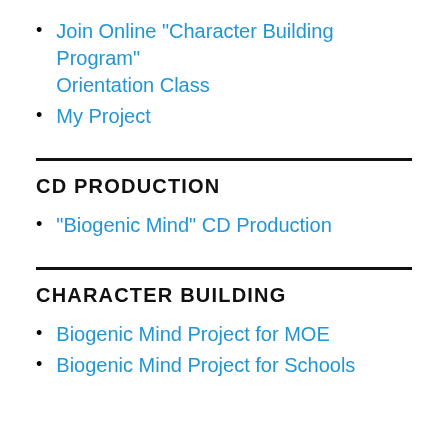Join Online "Character Building Program" Orientation Class
My Project
CD PRODUCTION
"Biogenic Mind" CD Production
CHARACTER BUILDING
Biogenic Mind Project for MOE
Biogenic Mind Project for Schools